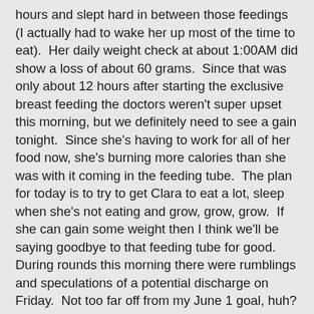hours and slept hard in between those feedings (I actually had to wake her up most of the time to eat).  Her daily weight check at about 1:00AM did show a loss of about 60 grams.  Since that was only about 12 hours after starting the exclusive breast feeding the doctors weren't super upset this morning, but we definitely need to see a gain tonight.  Since she's having to work for all of her food now, she's burning more calories than she was with it coming in the feeding tube.  The plan for today is to try to get Clara to eat a lot, sleep when she's not eating and grow, grow, grow.  If she can gain some weight then I think we'll be saying goodbye to that feeding tube for good.  During rounds this morning there were rumblings and speculations of a potential discharge on Friday.  Not too far off from my June 1 goal, huh?
We weaned  her morphine again today; it is now down to 0.1mg and just one more wean away from being gone for good.  The surgeons looked at her pressure sore wound and her incision today and said they both looked great and we could stop dressing them.  We've moved her echocardiogram, originally scheduled for Thursday, to today so we can get a check on the pulmonary hypertension and